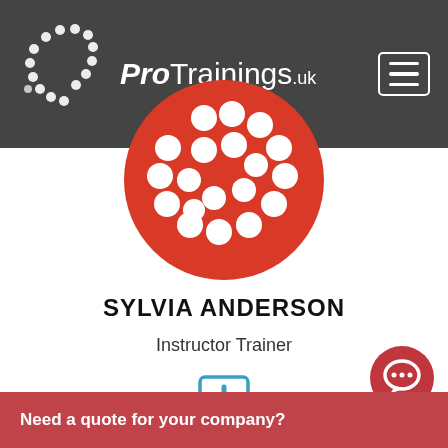[Figure (logo): ProTrainings.uk logo with white dots pattern on dark grey header bar and hamburger menu button]
[Figure (illustration): Large red circle with white dot pattern forming the ProTrainings logo, used as profile avatar image]
SYLVIA ANDERSON
Instructor Trainer
[Figure (other): Teal/blue square plus icon (add/expand button)]
[Figure (other): Red circular chat/speech bubble button in bottom right corner]
Need a quote for your company?